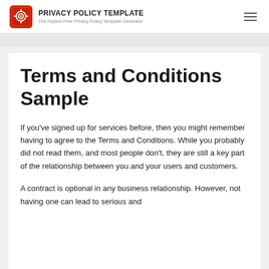PRIVACY POLICY TEMPLATE — The Fastest Free Privacy Policy Template Generator
Terms and Conditions Sample
If you've signed up for services before, then you might remember having to agree to the Terms and Conditions. While you probably did not read them, and most people don't, they are still a key part of the relationship between you and your users and customers.
A contract is optional in any business relationship. However, not having one can lead to serious and